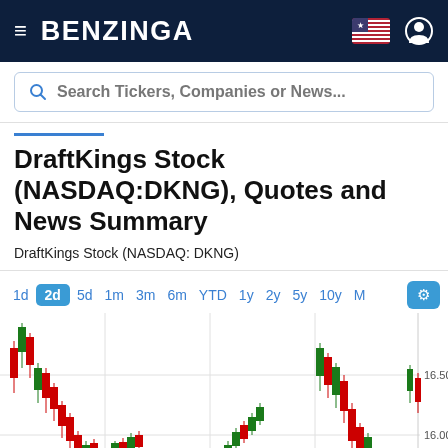BENZINGA
Search Tickers, Companies or News...
DraftKings Stock (NASDAQ:DKNG), Quotes and News Summary
DraftKings Stock (NASDAQ: DKNG)
[Figure (continuous-plot): Candlestick/OHLC stock chart for DraftKings (DKNG) showing 2-day price action with time period tabs (1d, 2d selected, 5d, 1m, 3m, 6m, YTD, 1y, 2y, 5y, 10y, M) and settings icon. Y-axis shows price levels 16.00 and 16.50.]